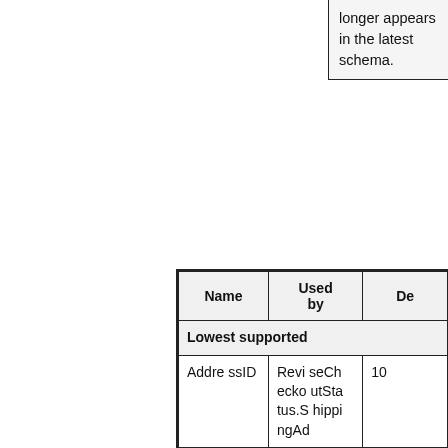| Name | Used by | De |
| --- | --- | --- |
| Lowest supported |
| AddressID | ReviseCheckoutStatus.ShippingAd | 10 |